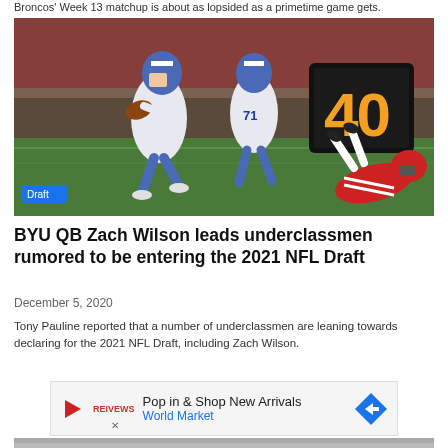Broncos' Week 13 matchup is about as lopsided as a primetime game gets.
[Figure (photo): BYU quarterback in white uniform running with football, number 71 lineman behind, red-uniformed defender on ground, play clock showing 40 in background. Blue 'Draft' badge overlaid bottom left.]
BYU QB Zach Wilson leads underclassmen rumored to be entering the 2021 NFL Draft
December 5, 2020
Tony Pauline reported that a number of underclassmen are leaning towards declaring for the 2021 NFL Draft, including Zach Wilson.
[Figure (other): Advertisement banner: Pop in & Shop New Arrivals - World Market]
[Figure (photo): Partial bottom image, cropped at page edge]